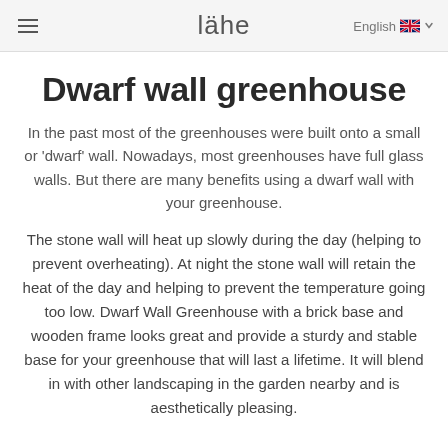lähe
Dwarf wall greenhouse
In the past most of the greenhouses were built onto a small or 'dwarf' wall. Nowadays, most greenhouses have full glass walls. But there are many benefits using a dwarf wall with your greenhouse.
The stone wall will heat up slowly during the day (helping to prevent overheating). At night the stone wall will retain the heat of the day and helping to prevent the temperature going too low. Dwarf Wall Greenhouse with a brick base and wooden frame looks great and provide a sturdy and stable base for your greenhouse that will last a lifetime. It will blend in with other landscaping in the garden nearby and is aesthetically pleasing.